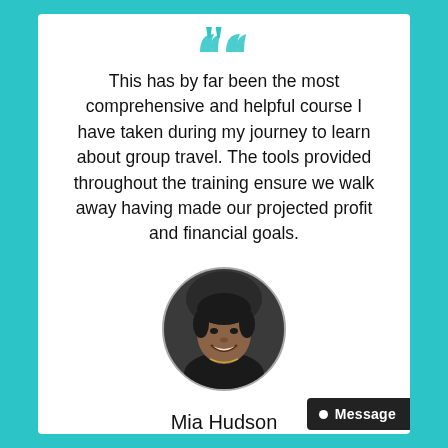[Figure (illustration): Teal quotation mark decorative element at top of card]
This has by far been the most comprehensive and helpful course I have taken during my journey to learn about group travel. The tools provided throughout the training ensure we walk away having made our projected profit and financial goals.
[Figure (photo): Circular profile photo of Mia Hudson, a woman smiling, inside a circle with gray border]
Mia Hudson
Divine 9 Group Travel